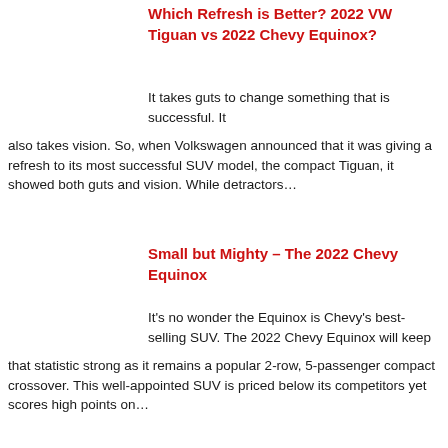Which Refresh is Better? 2022 VW Tiguan vs 2022 Chevy Equinox?
It takes guts to change something that is successful. It also takes vision. So, when Volkswagen announced that it was giving a refresh to its most successful SUV model, the compact Tiguan, it showed both guts and vision. While detractors…
Small but Mighty – The 2022 Chevy Equinox
It's no wonder the Equinox is Chevy's best-selling SUV. The 2022 Chevy Equinox will keep that statistic strong as it remains a popular 2-row, 5-passenger compact crossover. This well-appointed SUV is priced below its competitors yet scores high points on…